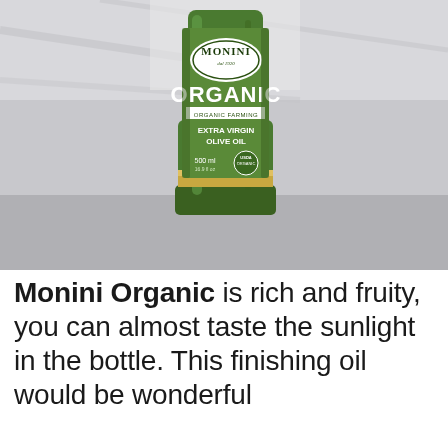[Figure (photo): Close-up photograph of a Monini Organic Extra Virgin Olive Oil bottle (500ml, 16.9 fl oz) in a green glass bottle with green label. The label shows the Monini brand name, 'ORGANIC' in large text, 'ORGANIC FARMING', 'EXTRA VIRGIN OLIVE OIL', and a USDA Organic seal. Background is marble/stone surface.]
Monini Organic is rich and fruity, you can almost taste the sunlight in the bottle. This finishing oil would be wonderful drizzled over grilled fish...